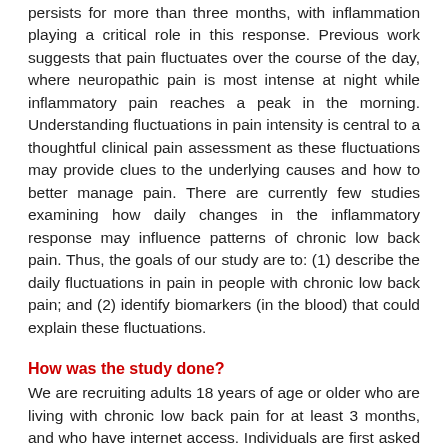persists for more than three months, with inflammation playing a critical role in this response. Previous work suggests that pain fluctuates over the course of the day, where neuropathic pain is most intense at night while inflammatory pain reaches a peak in the morning. Understanding fluctuations in pain intensity is central to a thoughtful clinical pain assessment as these fluctuations may provide clues to the underlying causes and how to better manage pain. There are currently few studies examining how daily changes in the inflammatory response may influence patterns of chronic low back pain. Thus, the goals of our study are to: (1) describe the daily fluctuations in pain in people with chronic low back pain; and (2) identify biomarkers (in the blood) that could explain these fluctuations.
How was the study done?
We are recruiting adults 18 years of age or older who are living with chronic low back pain for at least 3 months, and who have internet access. Individuals are first asked to complete a baseline assessment of their risk factors and blood